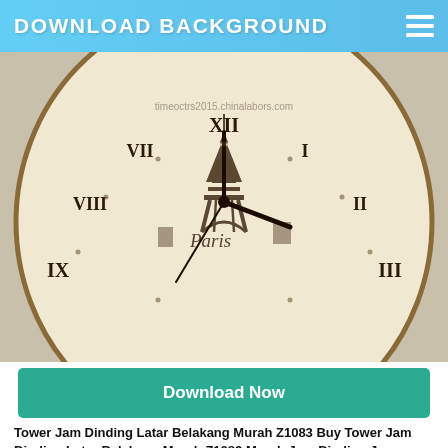DOWNLOAD BACKGROUND
[Figure (photo): A vintage Eiffel Tower clock face with Roman numerals, cream/antique background with Paris illustration and cursive text]
Download Now
Tower Jam Dinding Latar Belakang Murah Z1083 Buy Tower Jam Dinding Latar Belakang Murah Z1083 Murah Jam Dinding Jam Dinding Product On Alibaba Com
[Figure (photo): Two partial clock images visible at bottom of page]